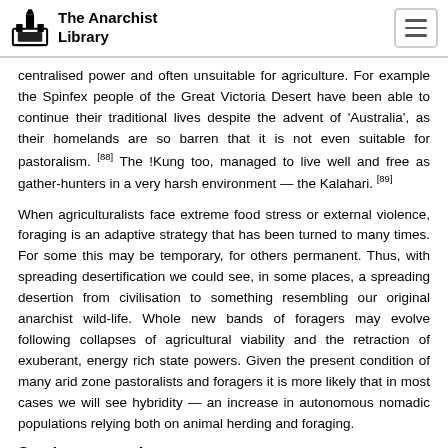The Anarchist Library
centralised power and often unsuitable for agriculture. For example the Spinfex people of the Great Victoria Desert have been able to continue their traditional lives despite the advent of 'Australia', as their homelands are so barren that it is not even suitable for pastoralism. [88] The !Kung too, managed to live well and free as gather-hunters in a very harsh environment — the Kalahari. [89]
When agriculturalists face extreme food stress or external violence, foraging is an adaptive strategy that has been turned to many times. For some this may be temporary, for others permanent. Thus, with spreading desertification we could see, in some places, a spreading desertion from civilisation to something resembling our original anarchist wild-life. Whole new bands of foragers may evolve following collapses of agricultural viability and the retraction of exuberant, energy rich state powers. Given the present condition of many arid zone pastoralists and foragers it is more likely that in most cases we will see hybridity — an increase in autonomous nomadic populations relying both on animal herding and foraging.
Sandgrouse and creosote